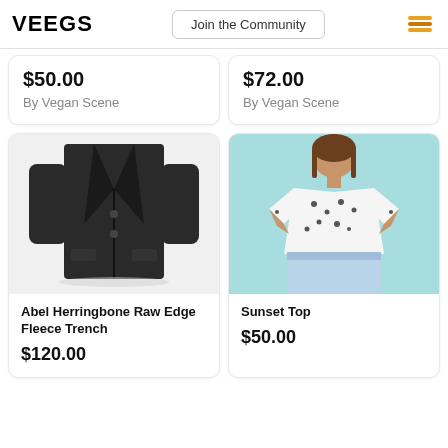VEEGS | Join the Community
$50.00
By Vegan Scene
$72.00
By Vegan Scene
[Figure (photo): Black oversized blazer/trench coat laid flat on white background]
Abel Herringbone Raw Edge Fleece Trench
$120.00
[Figure (photo): Woman wearing white floral/spotted short-sleeve top with light blue jeans, light blue background]
Sunset Top
$50.00